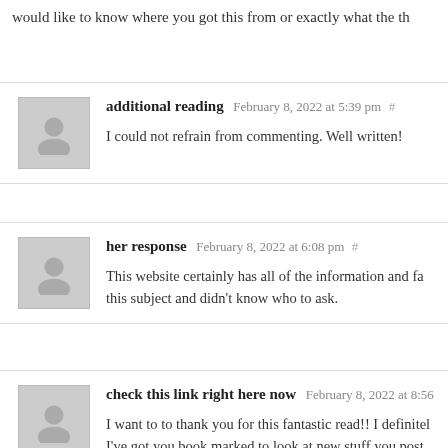would like to know where you got this from or exactly what the th
additional reading February 8, 2022 at 5:39 pm #
I could not refrain from commenting. Well written!
her response February 8, 2022 at 6:08 pm #
This website certainly has all of the information and fa... this subject and didn't know who to ask.
check this link right here now February 8, 2022 at 8:56...
I want to to thank you for this fantastic read!! I definitel... I've got you book marked to look at new stuff you post.